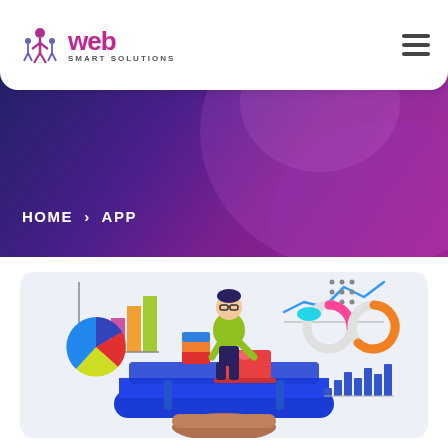Web Smart Solutions — HOME > APP
[Figure (illustration): Illustration of a person sitting at a desk on a smartphone/tablet, surrounded by floating data charts including bar charts, line charts, pie charts, and donut charts, representing app/data analytics services.]